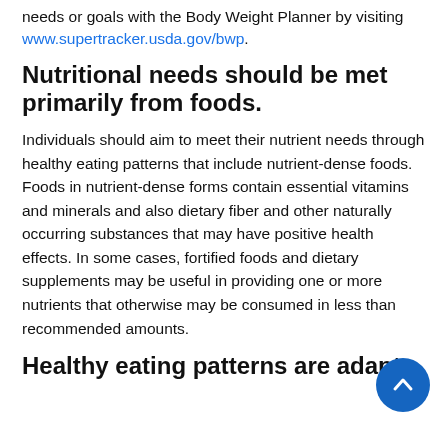needs or goals with the Body Weight Planner by visiting www.supertracker.usda.gov/bwp.
Nutritional needs should be met primarily from foods.
Individuals should aim to meet their nutrient needs through healthy eating patterns that include nutrient-dense foods. Foods in nutrient-dense forms contain essential vitamins and minerals and also dietary fiber and other naturally occurring substances that may have positive health effects. In some cases, fortified foods and dietary supplements may be useful in providing one or more nutrients that otherwise may be consumed in less than recommended amounts.
Healthy eating patterns are adaptable.